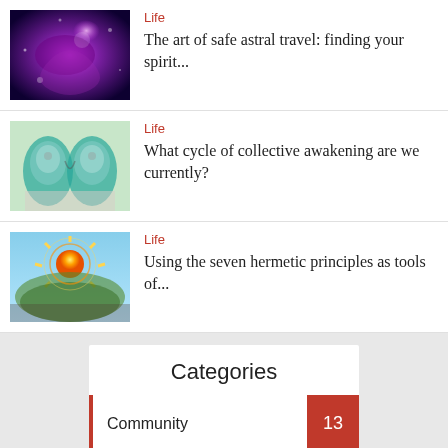[Figure (photo): Purple cosmic/nebula space artwork with glowing lights]
Life
The art of safe astral travel: finding your spirit...
[Figure (photo): Two hands holding brain halves with greenish teal tones]
Life
What cycle of collective awakening are we currently?
[Figure (photo): Colorful mandala/spiritual sun artwork with yellow rays and figures]
Life
Using the seven hermetic principles as tools of...
Categories
Community 13
Entertainment 4
Health 26